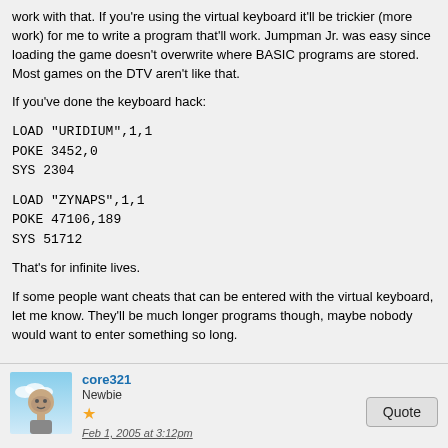work with that. If you're using the virtual keyboard it'll be trickier (more work) for me to write a program that'll work. Jumpman Jr. was easy since loading the game doesn't overwrite where BASIC programs are stored. Most games on the DTV aren't like that.
If you've done the keyboard hack:
LOAD "URIDIUM",1,1
POKE 3452,0
SYS 2304
LOAD "ZYNAPS",1,1
POKE 47106,189
SYS 51712
That's for infinite lives.
If some people want cheats that can be entered with the virtual keyboard, let me know. They'll be much longer programs though, maybe nobody would want to enter something so long.
core321
Newbie
Feb 1, 2005 at 3:12pm